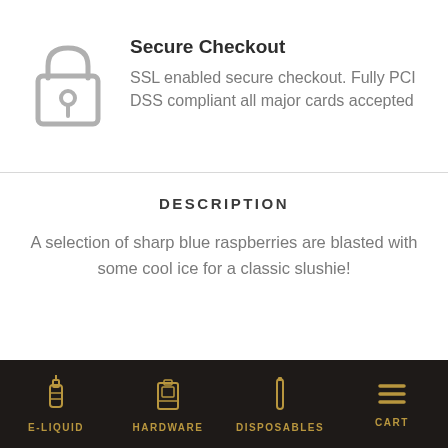[Figure (illustration): Padlock icon representing secure checkout]
Secure Checkout
SSL enabled secure checkout. Fully PCI DSS compliant all major cards accepted
DESCRIPTION
A selection of sharp blue raspberries are blasted with some cool ice for a classic slushie!
E-LIQUID  HARDWARE  DISPOSABLES  CART